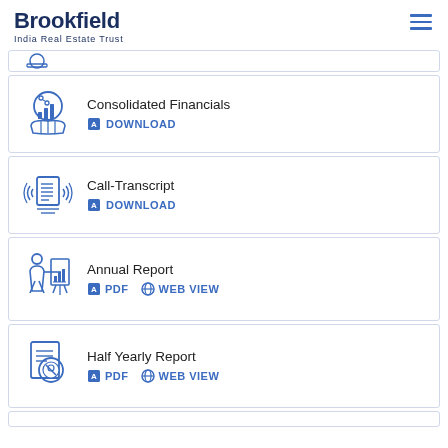Brookfield
India Real Estate Trust
Consolidated Financials – DOWNLOAD
Call-Transcript – DOWNLOAD
Annual Report – PDF | WEB VIEW
Half Yearly Report – PDF | WEB VIEW